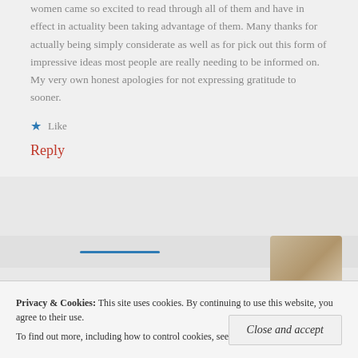women came so excited to read through all of them and have in effect in actuality been taking advantage of them. Many thanks for actually being simply considerate as well as for pick out this form of impressive ideas most people are really needing to be informed on. My very own honest apologies for not expressing gratitude to sooner.
Like
Reply
[Figure (photo): Partial thumbnail image of a person, cropped, visible in upper right of lower section]
Privacy & Cookies: This site uses cookies. By continuing to use this website, you agree to their use. To find out more, including how to control cookies, see here: Cookie Policy
Close and accept